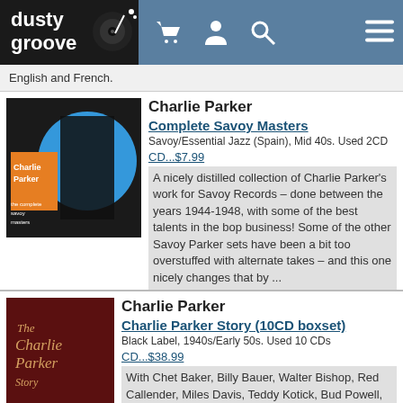dusty groove
English and French.
Charlie Parker
Complete Savoy Masters
Savoy/Essential Jazz (Spain), Mid 40s. Used 2CD
CD...$7.99
A nicely distilled collection of Charlie Parker's work for Savoy Records – done between the years 1944-1948, with some of the best talents in the bop business! Some of the other Savoy Parker sets have been a bit too overstuffed with alternate takes – and this one nicely changes that by ...
Charlie Parker
Charlie Parker Story (10CD boxset)
Black Label, 1940s/Early 50s. Used 10 CDs
CD...$38.99
With Chet Baker, Billy Bauer, Walter Bishop, Red Callender, Miles Davis, Teddy Kotick, Bud Powell, Red Rodney, Sid Catlett, Sonny Criss, Kenny Dorham, Allen Eager, Erroll Garner, Dizzy Gillespie, Wardell Gray, Al Haig, Joe Harris, Roy Haynes, Milt Jackson, Barney Kessel, John Lewis, Dodo Marmarosa, ...
Charlie Parker
Great Quartets & Quintets
Essential Jazz (Spain), Early 50s. Used